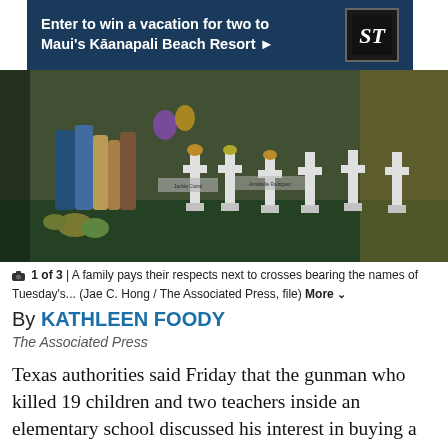[Figure (other): Advertisement banner: 'Enter to win a vacation for two to Maui's Kāanapali Beach Resort' with Seattle Times logo on dark blue background]
[Figure (photo): A family pays their respects next to white crosses bearing the names of victims, with flowers and balloons at a memorial site outdoors.]
1 of 3 | A family pays their respects next to crosses bearing the names of Tuesday's... (Jae C. Hong / The Associated Press, file) More
By KATHLEEN FOODY
The Associated Press
Texas authorities said Friday that the gunman who killed 19 children and two teachers inside an elementary school discussed his interest in buying a gun in private online conversations, but backed away from earlier descriptions that he made public threats less than an hour before the attack.